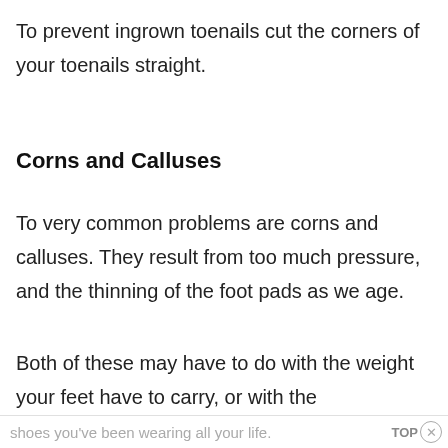To prevent ingrown toenails cut the corners of your toenails straight.
Corns and Calluses
To very common problems are corns and calluses. They result from too much pressure, and the thinning of the foot pads as we age.
Both of these may have to do with the weight your feet have to carry, or with the
shoes you've been wearing all your life.